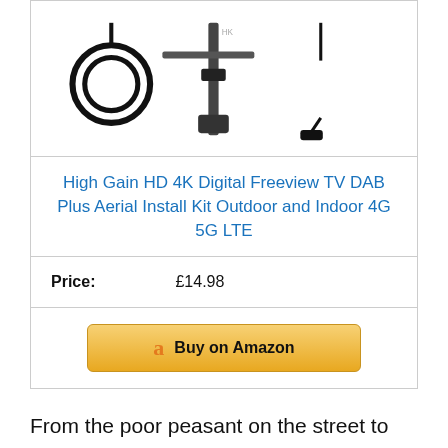[Figure (photo): Product image showing an antenna/aerial kit with cable, mounting bracket and USB components against a white background]
High Gain HD 4K Digital Freeview TV DAB Plus Aerial Install Kit Outdoor and Indoor 4G 5G LTE
Price:   £14.98
[Figure (other): Buy on Amazon button with Amazon logo]
From the poor peasant on the street to the all high popes in the Vatican, everybody loves a freebie. No matter how much you have in your